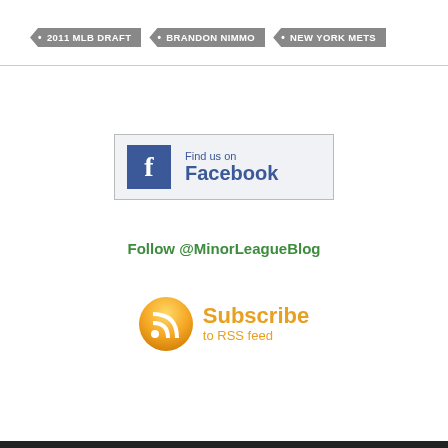2011 MLB DRAFT
BRANDON NIMMO
NEW YORK METS
[Figure (logo): Find us on Facebook button with blue Facebook f icon and text 'Find us on Facebook']
Follow @MinorLeagueBlog
[Figure (logo): Subscribe to RSS feed button with orange RSS icon and text 'Subscribe to RSS feed']